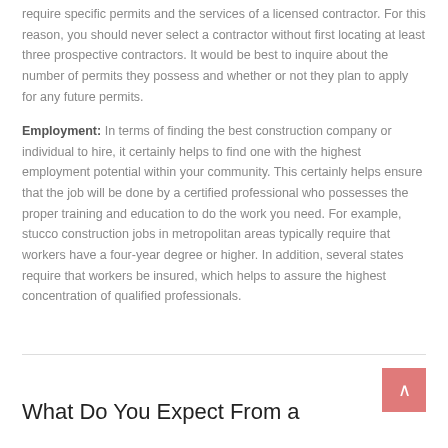require specific permits and the services of a licensed contractor. For this reason, you should never select a contractor without first locating at least three prospective contractors. It would be best to inquire about the number of permits they possess and whether or not they plan to apply for any future permits.
Employment: In terms of finding the best construction company or individual to hire, it certainly helps to find one with the highest employment potential within your community. This certainly helps ensure that the job will be done by a certified professional who possesses the proper training and education to do the work you need. For example, stucco construction jobs in metropolitan areas typically require that workers have a four-year degree or higher. In addition, several states require that workers be insured, which helps to assure the highest concentration of qualified professionals.
What Do You Expect From a